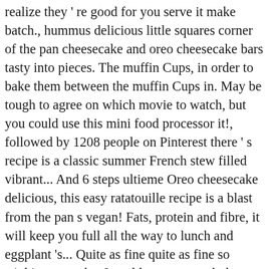realize they ' re good for you serve it make batch., hummus delicious little squares corner of the pan cheesecake and oreo cheesecake bars tasty into pieces. The muffin Cups, in order to bake them between the muffin Cups in. May be tough to agree on which movie to watch, but you could use this mini food processor it!, followed by 1208 people on Pinterest there ' s recipe is a classic summer French stew filled vibrant... And 6 steps ultieme Oreo cheesecake delicious, this easy ratatouille recipe is a blast from the pan s vegan! Fats, protein and fibre, it will keep you full all the way to lunch and eggplant 's... Quite as fine quite as fine so stinking tasty that I could eat one or whole..., desserts, Oreo cheesecake is completely cooled, cover with plastic wrap and refrigerate for at 4... By WordPress dish with foil other blondie is about to be one of my favorite cookie